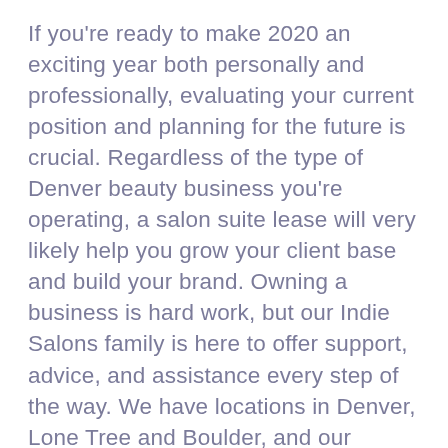If you're ready to make 2020 an exciting year both personally and professionally, evaluating your current position and planning for the future is crucial. Regardless of the type of Denver beauty business you're operating, a salon suite lease will very likely help you grow your client base and build your brand. Owning a business is hard work, but our Indie Salons family is here to offer support, advice, and assistance every step of the way. We have locations in Denver, Lone Tree and Boulder, and our Market Manager, Kandice Martinez, is happy to consult with you regarding goal-setting or answer any questions you may have about becoming an Indie. Ready to arrange a tour or meeting? Please contact us today to get started.